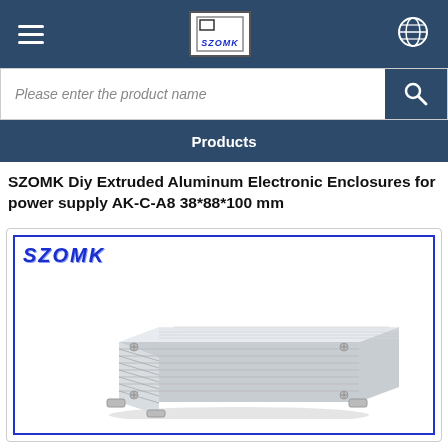SZOMK [logo] [hamburger menu] [globe icon]
Please enter the product name
Products
SZOMK Diy Extruded Aluminum Electronic Enclosures for power supply AK-C-A8 38*88*100 mm
[Figure (photo): Photo of a silver extruded aluminum electronic enclosure/box with ribbed surface and mounting feet, displayed inside a blue-bordered frame with SZOMK logo in blue italic text at top left]